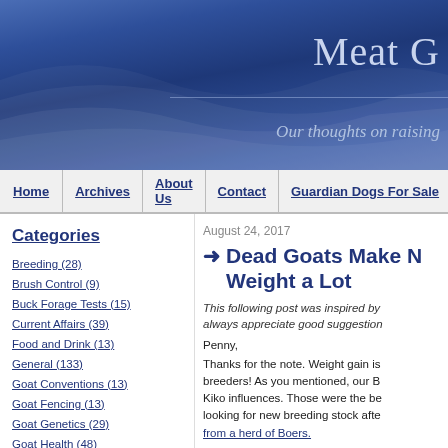Meat G[oat] — Our thoughts on raising[...]
Home
Archives
About Us
Contact
Guardian Dogs For Sale
Categories
Breeding (28)
Brush Control (9)
Buck Forage Tests (15)
Current Affairs (39)
Food and Drink (13)
General (133)
Goat Conventions (13)
Goat Fencing (13)
Goat Genetics (29)
Goat Health (48)
Goat Parasites (14)
Goat Ranching for Beginners (96)
August 24, 2017
Dead Goats Make N[o] Weight a Lot
This following post was inspired by[...] always appreciate good suggestion[s...]
Penny,
Thanks for the note. Weight gain is[...] breeders! As you mentioned, our B[...] Kiko influences. Those were the be[...] looking for new breeding stock afte[r...] from a herd of Boers.